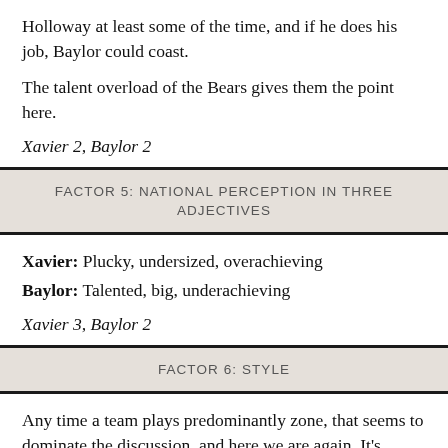Holloway at least some of the time, and if he does his job, Baylor could coast.
The talent overload of the Bears gives them the point here.
Xavier 2, Baylor 2
FACTOR 5: NATIONAL PERCEPTION IN THREE ADJECTIVES
Xavier: Plucky, undersized, overachieving
Baylor: Talented, big, underachieving
Xavier 3, Baylor 2
FACTOR 6: STYLE
Any time a team plays predominantly zone, that seems to dominate the discussion, and here we are again. It’s